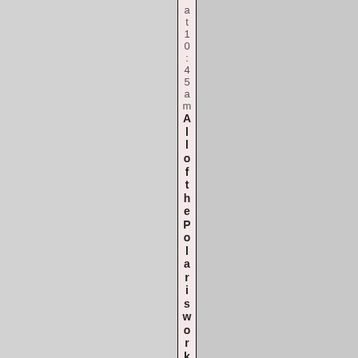[Figure (photo): Scanned book or document pages with a visible spine/binding in the center. The pages appear as textured gray paper. A narrow strip along the spine shows rotated vertical text reading 'at 10:45am All of the Polaris workl']
at 10:45am AllofthePolarisworkl